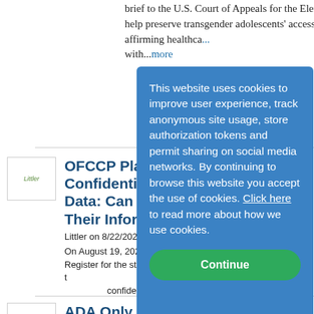brief to the U.S. Court of Appeals for the Eleventh Circuit to help preserve transgender adolescents' access to gender-affirming healthcare...more with...more
[Figure (logo): Littler logo in a small box with green italic text]
OFCCP Plans to Release Confidential Employee Data: Can Employers Protect Their Information?
Littler on 8/22/2022
On August 19, 2022, OFCCP published in the Federal Register for the stated notice to employers that in response to a Freedom of Information Act (FOIA) request, it is planning to release confidential...more
[Figure (infographic): Cookie consent overlay popup with blue background stating: This website uses cookies to improve user experience, track anonymous site usage, store authorization tokens and permit sharing on social media networks. By continuing to browse this website you accept the use of cookies. Click here to read more about how we use cookies. With a green Continue button.]
[Figure (logo): FairFe or similar organization logo in a small box]
ADA Only Allows Interference Claims Against Employers